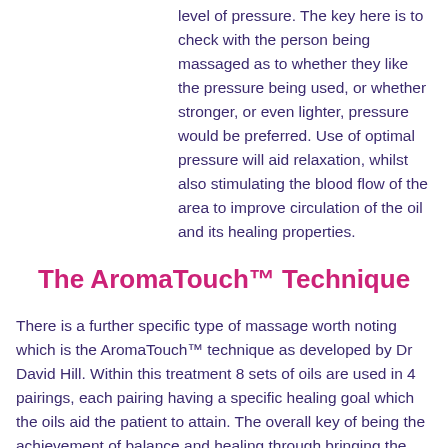level of pressure. The key here is to check with the person being massaged as to whether they like the pressure being used, or whether stronger, or even lighter, pressure would be preferred. Use of optimal pressure will aid relaxation, whilst also stimulating the blood flow of the area to improve circulation of the oil and its healing properties.
The AromaTouch™ Technique
There is a further specific type of massage worth noting which is the AromaTouch™ technique as developed by Dr David Hill. Within this treatment 8 sets of oils are used in 4 pairings, each pairing having a specific healing goal which the oils aid the patient to attain. The overall key of being the achievement of balance and healing through bringing the body and mind